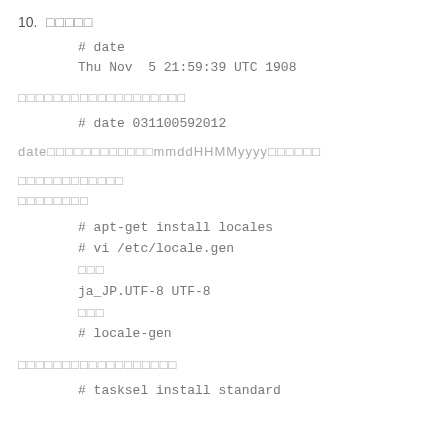10. □□□□□
# date
Thu Nov  5 21:59:39 UTC 1908
□□□□□□□□□□□□□□□□□□□
# date 031100592012
date□□□□□□□□□□□□mmddHHMMyyyy□□□□□□
□□□□□□□□□□□□
□□□□□□□□
# apt-get install locales
# vi /etc/locale.gen
□□□
ja_JP.UTF-8 UTF-8
□□□
# locale-gen
□□□□□□□□□□□□□□□□□□
# tasksel install standard